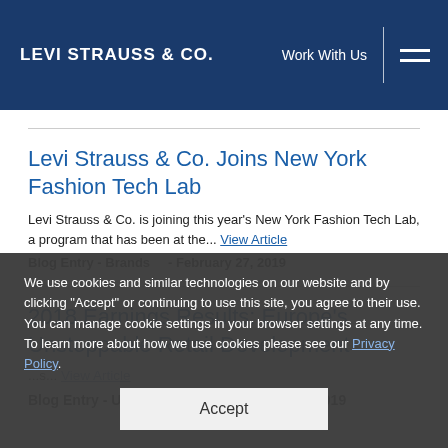LEVI STRAUSS & CO. | Work With Us
Levi Strauss & Co. Joins New York Fashion Tech Lab
Levi Strauss & Co. is joining this year's New York Fashion Tech Lab, a program that has been at the... View Article
Blog Entry - Brands     - February 27, 2019
2018 Earnings Results: Europe's Unstoppable Retail Development
Blog Entry - Uncategorized    - February 7, 2019
We use cookies and similar technologies on our website and by clicking "Accept" or continuing to use this site, you agree to their use. You can manage cookie settings in your browser settings at any time. To learn more about how we use cookies please see our Privacy Policy.